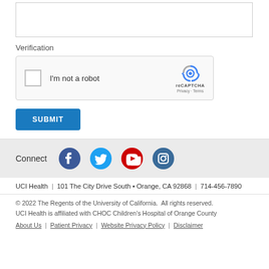[Figure (screenshot): Text area input box (empty, with border)]
Verification
[Figure (screenshot): reCAPTCHA widget with checkbox labeled 'I'm not a robot' and reCAPTCHA logo with Privacy and Terms links]
[Figure (screenshot): SUBMIT button in blue]
[Figure (infographic): Connect bar with social media icons: Facebook, Twitter, YouTube, Instagram]
UCI Health  |  101 The City Drive South • Orange, CA 92868  |  714-456-7890
© 2022 The Regents of the University of California.  All rights reserved.
UCI Health is affiliated with CHOC Children's Hospital of Orange County
About Us  |  Patient Privacy  |  Website Privacy Policy  |  Disclaimer